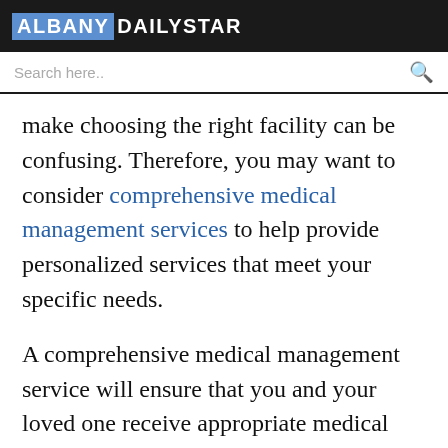ALBANY DAILY STAR
Search here..
make choosing the right facility can be confusing. Therefore, you may want to consider comprehensive medical management services to help provide personalized services that meet your specific needs.
A comprehensive medical management service will ensure that you and your loved one receive appropriate medical care at reasonable healthcare costs. However, in the meantime, here are three ways you can